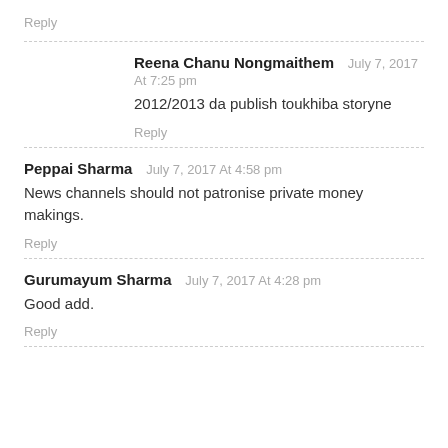Reply
Reena Chanu Nongmaithem   July 7, 2017 At 7:25 pm
2012/2013 da publish toukhiba storyne
Reply
Peppai Sharma   July 7, 2017 At 4:58 pm
News channels should not patronise private money makings.
Reply
Gurumayum Sharma   July 7, 2017 At 4:28 pm
Good add.
Reply